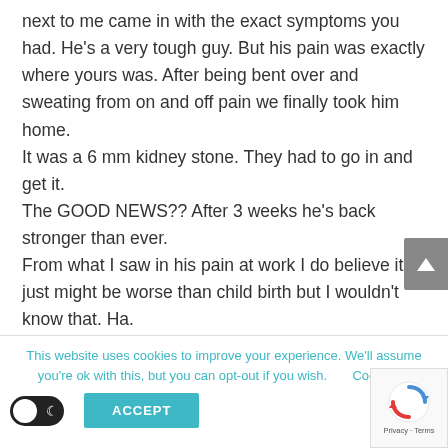next to me came in with the exact symptoms you had. He's a very tough guy. But his pain was exactly where yours was. After being bent over and sweating from on and off pain we finally took him home.
It was a 6 mm kidney stone. They had to go in and get it.
The GOOD NEWS?? After 3 weeks he's back stronger than ever.
From what I saw in his pain at work I do believe it just might be worse than child birth but I wouldn't know that. Ha.
This website uses cookies to improve your experience. We'll assume you're ok with this, but you can opt-out if you wish. Cookie se... ACCEPT